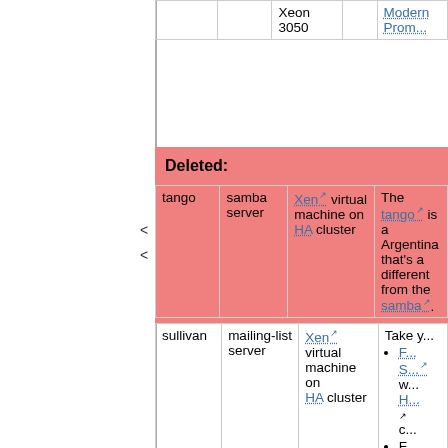|  |  | Xeon 3050 |  | Modern Prom... |
Deleted:
| tango | samba server | Xen virtual machine on HA cluster | The tango is a... Argentina that's a different from the... samba. |
| sullivan | mailing-list server | Xen virtual machine on HA cluster | Take y... • F... S... w... H... c... • F... A... |